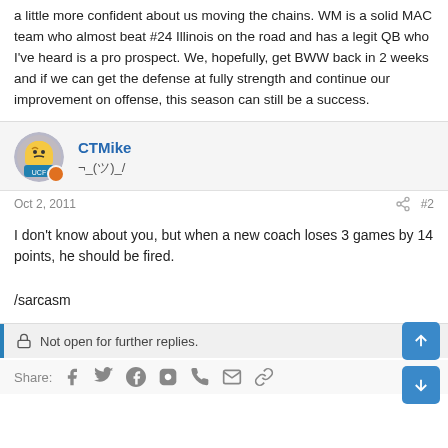a little more confident about us moving the chains. WM is a solid MAC team who almost beat #24 Illinois on the road and has a legit QB who I've heard is a pro prospect. We, hopefully, get BWW back in 2 weeks and if we can get the defense at fully strength and continue our improvement on offense, this season can still be a success.
CTMike
¬_(ツ)_/
Oct 2, 2011
#2
I don't know about you, but when a new coach loses 3 games by 14 points, he should be fired.

/sarcasm
Not open for further replies.
Share: